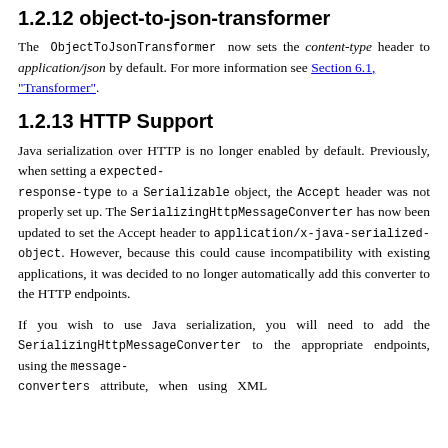1.2.12 object-to-json-transformer
The ObjectToJsonTransformer now sets the content-type header to application/json by default. For more information see Section 6.1, "Transformer".
1.2.13 HTTP Support
Java serialization over HTTP is no longer enabled by default. Previously, when setting a expected-response-type to a Serializable object, the Accept header was not properly set up. The SerializingHttpMessageConverter has now been updated to set the Accept header to application/x-java-serialized-object. However, because this could cause incompatibility with existing applications, it was decided to no longer automatically add this converter to the HTTP endpoints.
If you wish to use Java serialization, you will need to add the SerializingHttpMessageConverter to the appropriate endpoints, using the message-converters attribute, when using XML